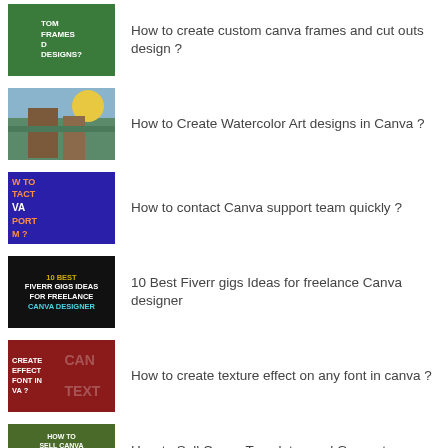How to create custom canva frames and cut outs design ?
How to Create Watercolor Art designs in Canva ?
How to contact Canva support team quickly ?
10 Best Fiverr gigs Ideas for freelance Canva designer
How to create texture effect on any font in canva ?
How to Sell Canva Templates and Generate Passive Income Every Month